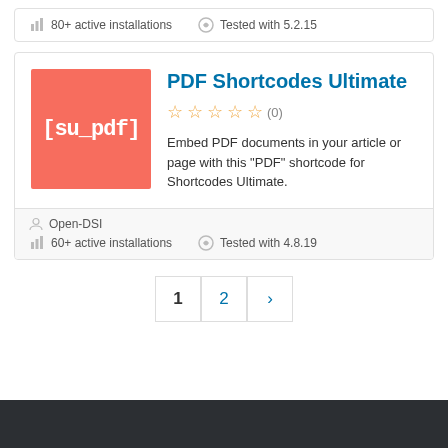80+ active installations   Tested with 5.2.15
PDF Shortcodes Ultimate
(0)
Embed PDF documents in your article or page with this "PDF" shortcode for Shortcodes Ultimate.
Open-DSI
60+ active installations   Tested with 4.8.19
1  2  ›